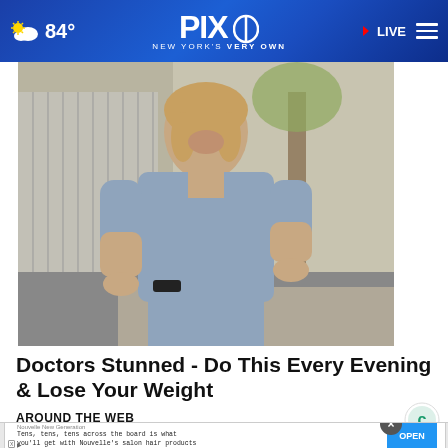84° PIX11 NEW YORK'S VERY OWN LIVE
[Figure (photo): Woman in grey scrubs smiling outdoors, standing in front of a building with a tree and parked cars in background]
Doctors Stunned - Do This Every Evening & Lose Your Weight
AROUND THE WEB
[Figure (screenshot): Ad banner from Nouvelle New Generation: 'Tens, tens, tens across the board is what you'll get with Nouvelle's salon hair products' with OPEN button and X close button]
Nouvelle New Generation
Tens, tens, tens across the board is what you'll get with Nouvelle's salon hair products